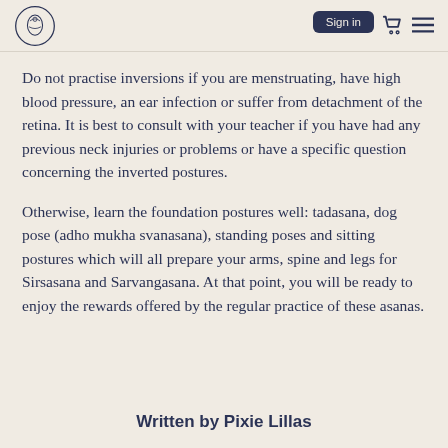Sign in
Do not practise inversions if you are menstruating, have high blood pressure, an ear infection or suffer from detachment of the retina. It is best to consult with your teacher if you have had any previous neck injuries or problems or have a specific question concerning the inverted postures.
Otherwise, learn the foundation postures well: tadasana, dog pose (adho mukha svanasana), standing poses and sitting postures which will all prepare your arms, spine and legs for Sirsasana and Sarvangasana. At that point, you will be ready to enjoy the rewards offered by the regular practice of these asanas.
Written by Pixie Lillas